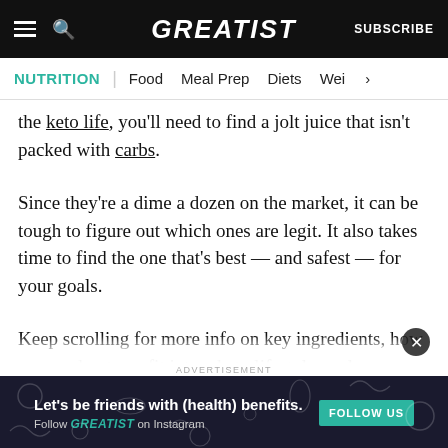GREATIST — SUBSCRIBE
NUTRITION | Food  Meal Prep  Diets  Wei >
the keto life, you'll need to find a jolt juice that isn't packed with carbs.
Since they're a dime a dozen on the market, it can be tough to figure out which ones are legit. It also takes time to find the one that's best — and safest — for your goals.
Keep scrolling for more info on key ingredients, how pre-workout can fit into a keto lifestyle, and the perks of taking a pre-workout when you do...
ADVERTISEMENT
[Figure (other): Advertisement banner: Let's be friends with (health) benefits. Follow GREATIST on Instagram. FOLLOW US button.]